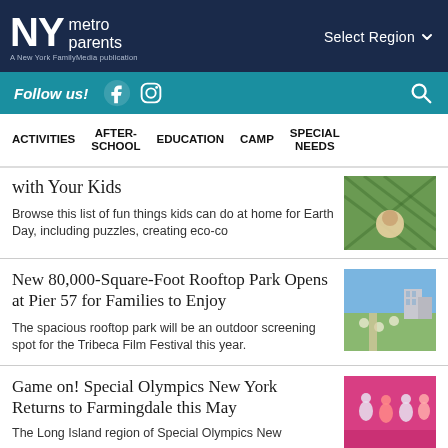NY metro parents — A New York FamilyMedia publication
Follow us! | Select Region
ACTIVITIES | AFTER-SCHOOL | EDUCATION | CAMP | SPECIAL NEEDS
with Your Kids
Browse this list of fun things kids can do at home for Earth Day, including puzzles, creating eco-co
New 80,000-Square-Foot Rooftop Park Opens at Pier 57 for Families to Enjoy
The spacious rooftop park will be an outdoor screening spot for the Tribeca Film Festival this year.
Game on! Special Olympics New York Returns to Farmingdale this May
The Long Island region of Special Olympics New